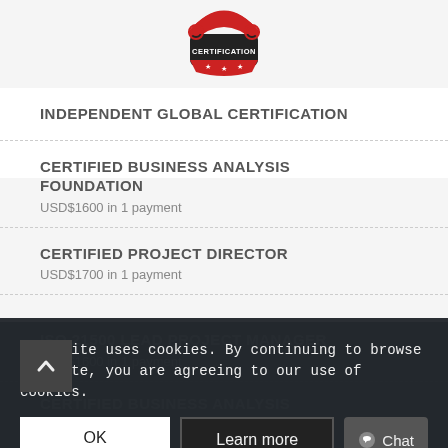[Figure (logo): Circular certification badge with red and black colors, crown/shield design, stars and text reading CERTIFICATION]
INDEPENDENT GLOBAL CERTIFICATION
CERTIFIED BUSINESS ANALYSIS FOUNDATION
USD$1600 in 1 payment
CERTIFIED PROJECT DIRECTOR
USD$1700 in 1 payment
ISO 21500 LEAD PROJECT MANAGER
USD$1600 in 1 payment
CERTIFIED BUSINESS ANALYSIS PRACTITIONER
This site uses cookies. By continuing to browse the site, you are agreeing to our use of cookies.
OK | Learn more | Chat